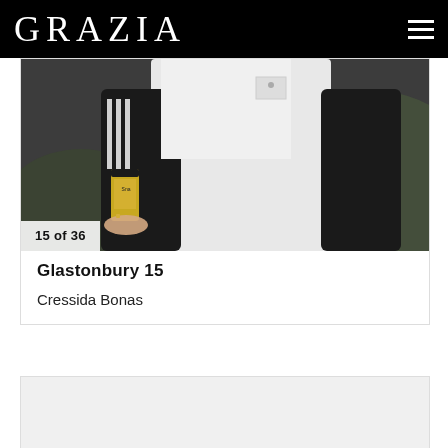GRAZIA
[Figure (photo): Person wearing white overalls and black jacket holding a can of drink, photographed outdoors at Glastonbury festival]
15 of 36
Glastonbury 15
Cressida Bonas
[Figure (photo): Partially visible second article card below]